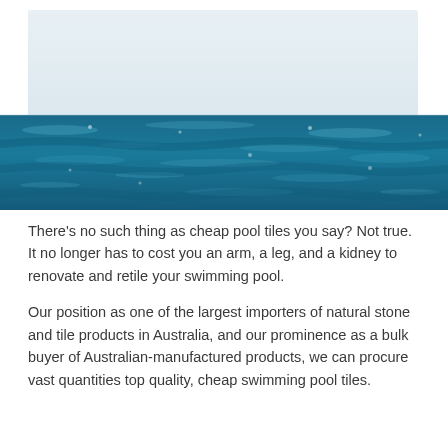[Figure (photo): Swimming pool water surface viewed from above, with turquoise-blue rippling water in the lower portion and a light grey/white frosted glass or sky reflection panel in the upper portion.]
There's no such thing as cheap pool tiles you say? Not true. It no longer has to cost you an arm, a leg, and a kidney to renovate and retile your swimming pool.
Our position as one of the largest importers of natural stone and tile products in Australia, and our prominence as a bulk buyer of Australian-manufactured products, we can procure vast quantities top quality, cheap swimming pool tiles.